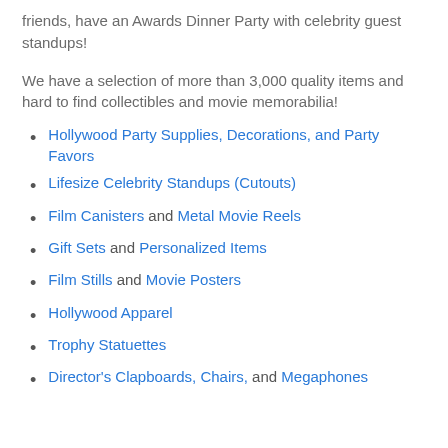friends, have an Awards Dinner Party with celebrity guest standups!
We have a selection of more than 3,000 quality items and hard to find collectibles and movie memorabilia!
Hollywood Party Supplies, Decorations, and Party Favors
Lifesize Celebrity Standups (Cutouts)
Film Canisters and Metal Movie Reels
Gift Sets and Personalized Items
Film Stills and Movie Posters
Hollywood Apparel
Trophy Statuettes
Director's Clapboards, Chairs, and Megaphones